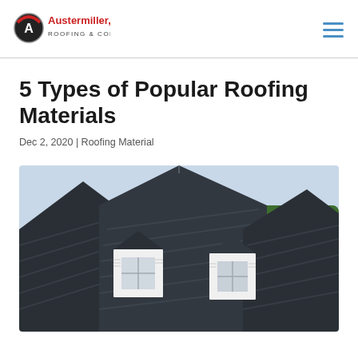[Figure (logo): Austermiller, Inc. Roofing & Construction company logo with triangular shield icon]
5 Types of Popular Roofing Materials
Dec 2, 2020 | Roofing Material
[Figure (photo): Aerial/close-up view of dark grey asphalt shingle roofing on a house with white dormers/gable windows and trees in the background]